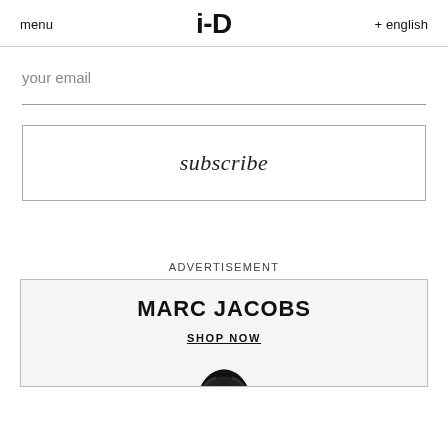menu   i-D   + english
your email
subscribe
ADVERTISEMENT
[Figure (advertisement): Marc Jacobs advertisement banner with brand name, SHOP NOW link, and partial photo of a person with dark hair]